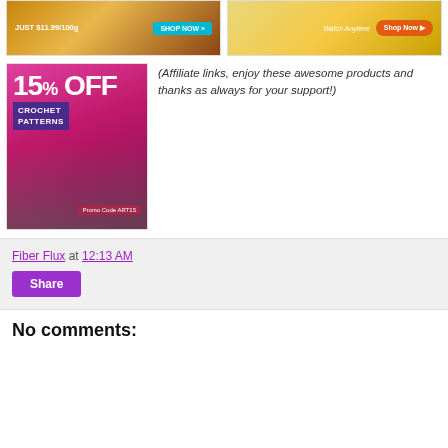[Figure (photo): Advertisement banner: yarn/thread product, dark background, text JUST $11.99/100g with teal SHOP NOW button]
[Figure (photo): Advertisement banner: colorful knitted/crocheted items stacked, text Watch Anytime, orange Shop Now button]
[Figure (photo): Advertisement: pink/magenta background, 15% OFF CROCHET PATTERNS, colorful crocheted shawl, Promo Code ART15]
(Affiliate links, enjoy these awesome products and thanks as always for your support!)
Fiber Flux at 12:13 AM
Share
No comments: